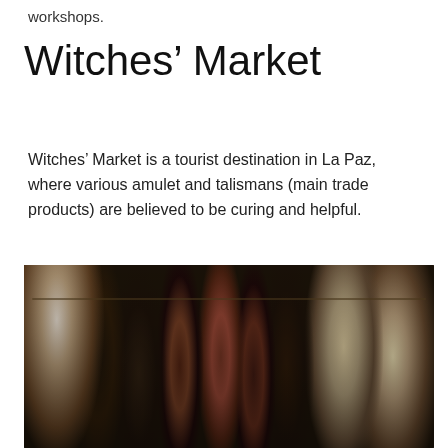workshops.
Witches’ Market
Witches’ Market is a tourist destination in La Paz, where various amulet and talismans (main trade products) are believed to be curing and helpful.
[Figure (photo): Photograph of dried animal carcasses and pelts hanging from a wire or line, displayed at a market stall, typical of the Witches' Market in La Paz, Bolivia. Various animals including birds, mammals, and other creatures are suspended upside down.]